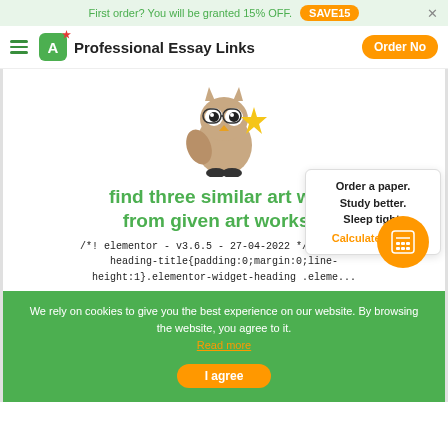First order? You will be granted 15% OFF. SAVE15
Professional Essay Links  Order Now
[Figure (illustration): Owl mascot wearing glasses and holding a gold star]
find three similar art wo... from given art works...
Order a paper. Study better. Sleep tight. Calculate Price!
/*! elementor - v3.6.5 - 27-04-2022 */ .ele... heading-title{padding:0;margin:0;line-height:1}.elementor-widget-heading .eleme...
We rely on cookies to give you the best experience on our website. By browsing the website, you agree to it. Read more
I agree